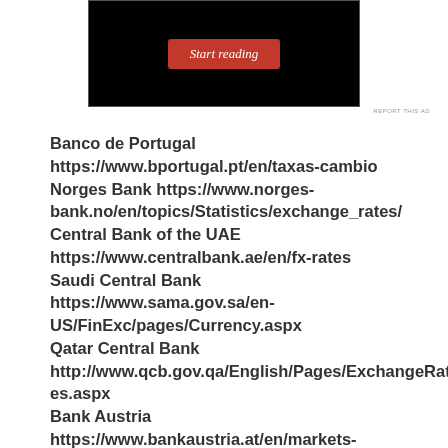[Figure (screenshot): Black rectangle with a red 'Start reading' button centered inside it, resembling an advertisement or UI element.]
REPORT THIS AD
Banco de Portugal https://www.bportugal.pt/en/taxas-cambio Norges Bank https://www.norges-bank.no/en/topics/Statistics/exchange_rates/ Central Bank of the UAE https://www.centralbank.ae/en/fx-rates Saudi Central Bank https://www.sama.gov.sa/en-US/FinExc/pages/Currency.aspx Qatar Central Bank http://www.qcb.gov.qa/English/Pages/ExchangeRates.aspx Bank Austria https://www.bankaustria.at/en/markets-research-exchange-rates.jsp